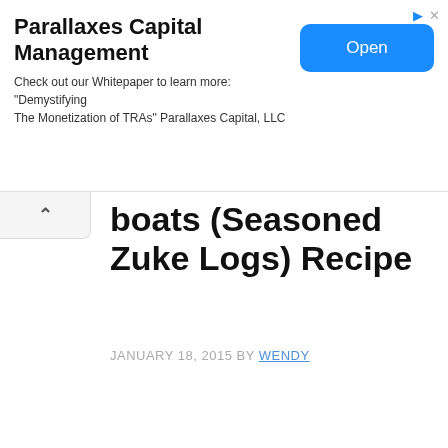[Figure (screenshot): Advertisement banner for Parallaxes Capital Management with an Open button]
boats (Seasoned Zuke Logs) Recipe
JANUARY 18, 2015 BY WENDY